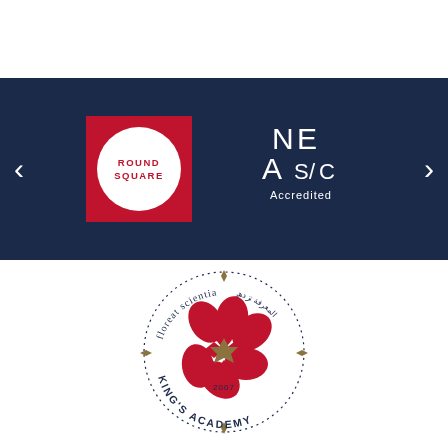[Figure (logo): Round Square logo - red square with white circle containing red text ROUND SQUARE]
[Figure (logo): NEASC Accredited logo in white line art on dark navy background]
[Figure (logo): King's Academy circular seal logo with red floral design and text 'floreat scientia', 'KING'S ACADEMY', '2007']
[Figure (infographic): Social media icons row: phone, Facebook, Twitter, YouTube, Instagram, LinkedIn, Weibo, and another platform icon]